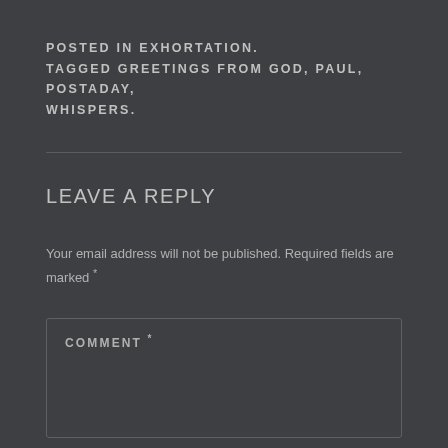POSTED IN EXHORTATION.
TAGGED GREETINGS FROM GOD, PAUL, POSTADAY, WHISPERS.
LEAVE A REPLY
Your email address will not be published. Required fields are marked *
COMMENT *